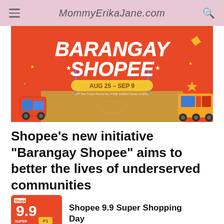MommyErikaJane.com
[Figure (illustration): Barangay Shopee promotional banner with orange background, large white bold text 'BARANGAY SHOPEE', yellow pill badge showing 'AUG 25 - SEP 9', small text 'DTI Fair Trade Permit No. FTEB 149819 Series of 2022', illustrated basketball court, tricycle, jeepney, and flag decorations]
Shopee’s new initiative “Barangay Shopee” aims to better the lives of underserved communities
[Figure (illustration): Shopee 9.9 Super Shopping Day promotional thumbnail with orange and red background, '9.9' large text, 'SUPER SHOPPING DAY', 'P1' badge, 'MAS MURA SA SHOPEE' text]
Shopee 9.9 Super Shopping Day